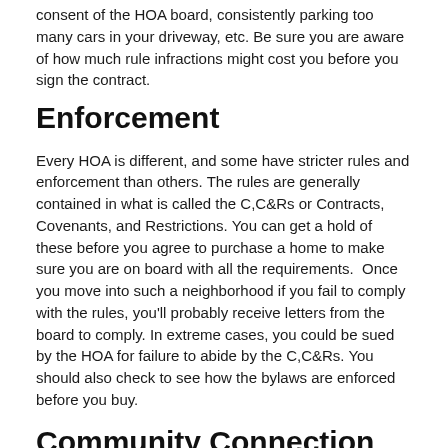consent of the HOA board, consistently parking too many cars in your driveway, etc. Be sure you are aware of how much rule infractions might cost you before you sign the contract.
Enforcement
Every HOA is different, and some have stricter rules and enforcement than others. The rules are generally contained in what is called the C,C&Rs or Contracts, Covenants, and Restrictions. You can get a hold of these before you agree to purchase a home to make sure you are on board with all the requirements.  Once you move into such a neighborhood if you fail to comply with the rules, you'll probably receive letters from the board to comply. In extreme cases, you could be sued by the HOA for failure to abide by the C,C&Rs. You should also check to see how the bylaws are enforced before you buy.
Community Connection
An HOA can often be a source of connection with the